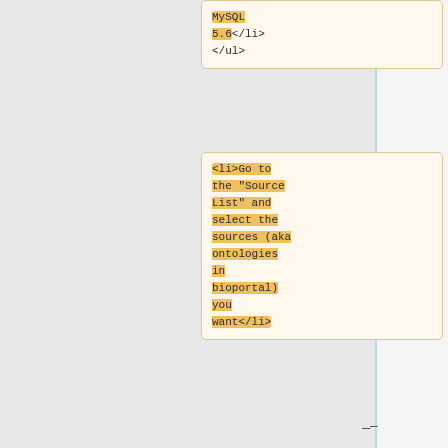MySQL 5.6</li>
</ul>
<li>Go to the "Source List" and select the sources (aka ontologies in bioportal) you want</li>
<ul>
<li>hold ctrl to select many</li>